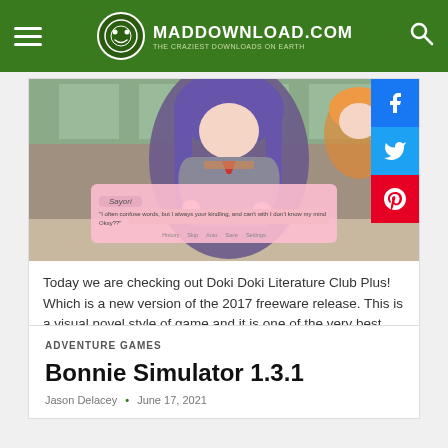MADDOWNLOAD.COM — THE CRAZIEST DOWNLOADS ON EARTH
[Figure (screenshot): Screenshot of Doki Doki Literature Club Plus! game showing an anime character with purple hair in a school setting, with a dialogue box reading 'Sayori' and game dialogue text, plus social share buttons (Facebook, Twitter, Pinterest) on the right side.]
Today we are checking out Doki Doki Literature Club Plus! Which is a new version of the 2017 freeware release. This is a visual novel style of game and it is one of the very best that the genre has ...
ADVENTURE GAMES
Bonnie Simulator 1.3.1
Jason Delacey  •  June 17, 2021